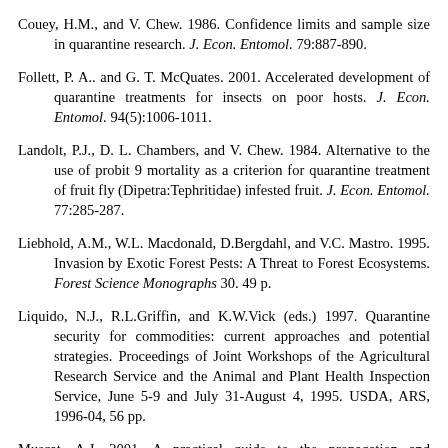Couey, H.M., and V. Chew. 1986. Confidence limits and sample size in quarantine research. J. Econ. Entomol. 79:887-890.
Follett, P. A.. and G. T. McQuates. 2001. Accelerated development of quarantine treatments for insects on poor hosts. J. Econ. Entomol. 94(5):1006-1011.
Landolt, P.J., D. L. Chambers, and V. Chew. 1984. Alternative to the use of probit 9 mortality as a criterion for quarantine treatment of fruit fly (Dipetra:Tephritidae) infested fruit. J. Econ. Entomol. 77:285-287.
Liebhold, A.M., W.L. Macdonald, D.Bergdahl, and V.C. Mastro. 1995. Invasion by Exotic Forest Pests: A Threat to Forest Ecosystems. Forest Science Monographs 30. 49 p.
Liquido, N.J., R.L.Griffin, and K.W.Vick (eds.) 1997. Quarantine security for commodities: current approaches and potential strategies. Proceedings of Joint Workshops of the Agricultural Research Service and the Animal and Plant Health Inspection Service, June 5-9 and July 31-August 4, 1995. USDA, ARS, 1996-04, 56 pp.
Muscat, A.J. 2001. A practical guide to the propagation and analysis of experimental errors.